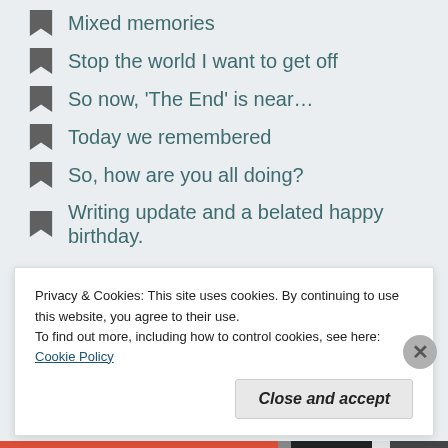Mixed memories
Stop the world I want to get off
So now, 'The End' is near…
Today we remembered
So, how are you all doing?
Writing update and a belated happy birthday.
Search …
Archives
Privacy & Cookies: This site uses cookies. By continuing to use this website, you agree to their use.
To find out more, including how to control cookies, see here: Cookie Policy
Close and accept